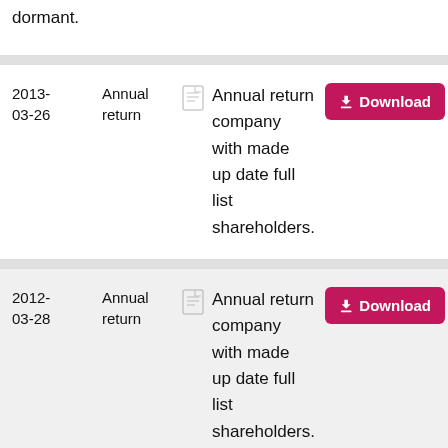dormant.
| Date | Type |  | Description | Action |
| --- | --- | --- | --- | --- |
| 2013-03-26 | Annual return |  | Annual return company with made up date full list shareholders. | Download |
| 2012-03-28 | Annual return |  | Annual return company with made up date full list shareholders. | Download |